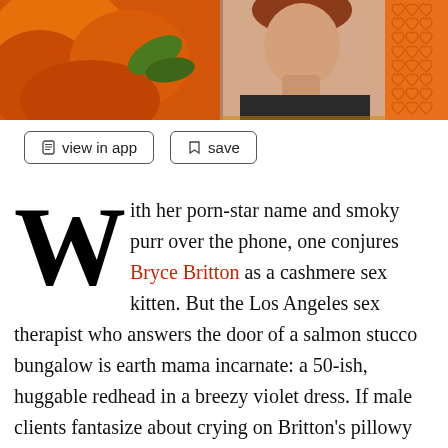[Figure (photo): Top banner image showing orange pumpkins on left, a woman's face/neck in center-right, and an orange heart pattern on far right]
[Figure (other): Two UI buttons: 'view in app' and 'save']
With her porn-star name and smoky purr over the phone, one conjures Bryce Britton as a cashmere sex kitten. But the Los Angeles sex therapist who answers the door of a salmon stucco bungalow is earth mama incarnate: a 50-ish, huggable redhead in a breezy violet dress. If male clients fantasize about crying on Britton's pillowy shoulder, their baser impulses are reserved for the surrogates she pairs them with to experientially cure them of premature ejaculation,